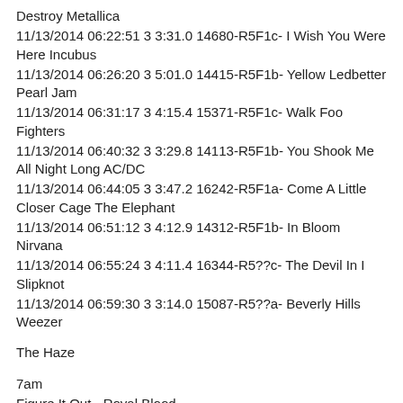Destroy Metallica
11/13/2014 06:22:51 3 3:31.0 14680-R5F1c- I Wish You Were Here Incubus
11/13/2014 06:26:20 3 5:01.0 14415-R5F1b- Yellow Ledbetter Pearl Jam
11/13/2014 06:31:17 3 4:15.4 15371-R5F1c- Walk Foo Fighters
11/13/2014 06:40:32 3 3:29.8 14113-R5F1b- You Shook Me All Night Long AC/DC
11/13/2014 06:44:05 3 3:47.2 16242-R5F1a- Come A Little Closer Cage The Elephant
11/13/2014 06:51:12 3 4:12.9 14312-R5F1b- In Bloom Nirvana
11/13/2014 06:55:24 3 4:11.4 16344-R5??c- The Devil In I Slipknot
11/13/2014 06:59:30 3 3:14.0 15087-R5??a- Beverly Hills Weezer
The Haze
7am
Figure It Out - Royal Blood